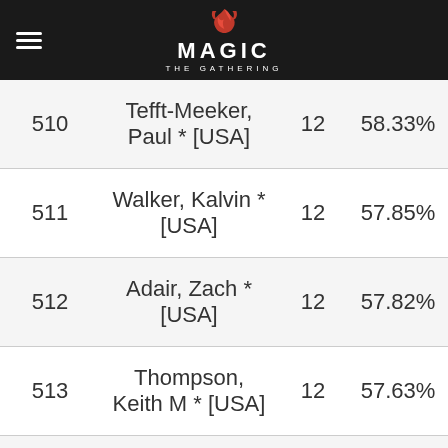MAGIC THE GATHERING
| Rank | Player | Points | OMW% |
| --- | --- | --- | --- |
| 510 | Tefft-Meeker, Paul * [USA] | 12 | 58.33% |
| 511 | Walker, Kalvin * [USA] | 12 | 57.85% |
| 512 | Adair, Zach * [USA] | 12 | 57.82% |
| 513 | Thompson, Keith M * [USA] | 12 | 57.63% |
| 514 | CHU, JAMES * [USA] | 12 | 57.60% |
We use necessary cookies to allow our site to function correctly and collect anonymous session data. Necessary cookies can be opted out through your browser settings. We also use optional cookies to personalize content and ads, provide social medial features and analyze web traffic. By clicking "OK, I agree," you consent to optional cookies. (Learn more about cookies.)
OK, I agree    No, thanks